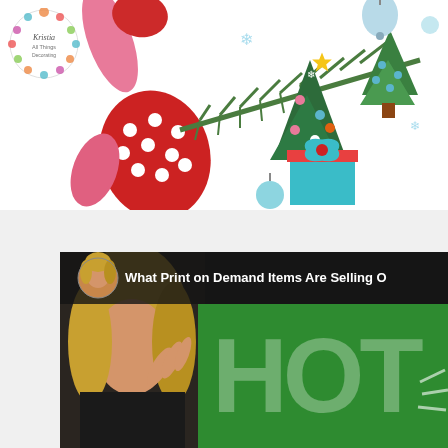[Figure (illustration): Christmas-themed illustration with flamingos, polka-dot mittens, pine branches, decorated Christmas trees (green with ornaments), teal/blue gift box with bow, snowflakes, and light blue ornament balls on white background. A circular floral logo badge for 'Kristia All Things Decorating' is in the top-left corner.]
[Figure (screenshot): Video thumbnail showing a woman with blonde hair (circular avatar) next to text 'What Print on Demand Items Are Selling O...' with a dark background and large green 'HOT' text overlay. The word HOT appears in large white/gray letters on a bright green background on the right side, while the left shows a person's face partially visible.]